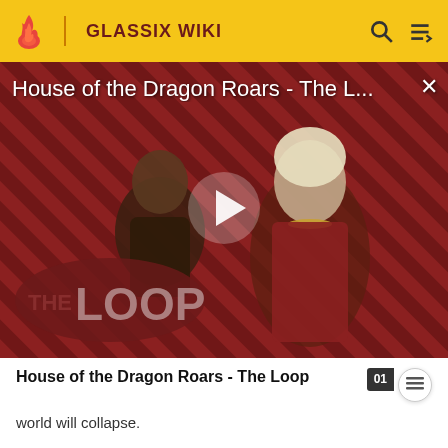GLASSIX WIKI
[Figure (screenshot): Video thumbnail for 'House of the Dragon Roars - The Loop' showing two characters against a diagonal red and black striped background with THE LOOP logo and a play button overlay.]
House of the Dragon Roars - The Loop
world will collapse.
He is implicated only in Emika's story.